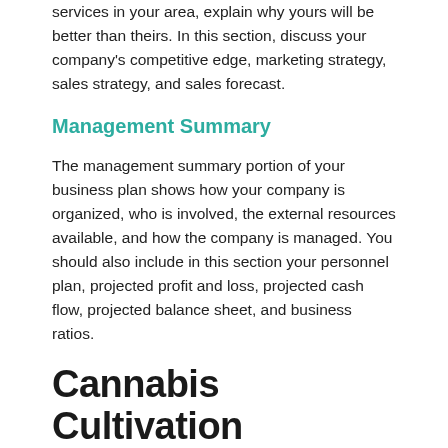services in your area, explain why yours will be better than theirs. In this section, discuss your company's competitive edge, marketing strategy, sales strategy, and sales forecast.
Management Summary
The management summary portion of your business plan shows how your company is organized, who is involved, the external resources available, and how the company is managed. You should also include in this section your personnel plan, projected profit and loss, projected cash flow, projected balance sheet, and business ratios.
Cannabis Cultivation Business Plan Tips
Set timelines and projections that make sense